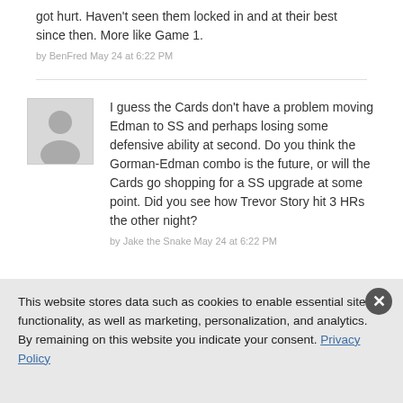got hurt. Haven't seen them locked in and at their best since then. More like Game 1.
by BenFred May 24 at 6:22 PM
I guess the Cards don't have a problem moving Edman to SS and perhaps losing some defensive ability at second. Do you think the Gorman-Edman combo is the future, or will the Cards go shopping for a SS upgrade at some point. Did you see how Trevor Story hit 3 HRs the other night?
by Jake the Snake May 24 at 6:22 PM
This website stores data such as cookies to enable essential site functionality, as well as marketing, personalization, and analytics. By remaining on this website you indicate your consent. Privacy Policy